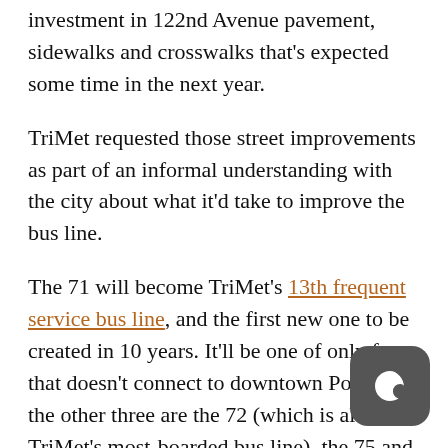investment in 122nd Avenue pavement, sidewalks and crosswalks that's expected some time in the next year.
TriMet requested those street improvements as part of an informal understanding with the city about what it'd take to improve the bus line.
The 71 will become TriMet's 13th frequent service bus line, and the first new one to be created in 10 years. It'll be one of only four that doesn't connect to downtown Portland; the other three are the 72 (which is also TriMet's most-boarded bus line), the 75 and the 57.
“Once the City has made these high-priority safety and access improvements, we will improve the